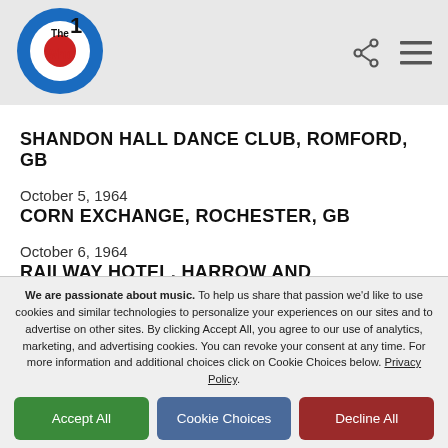[Figure (logo): The Who band logo — circular blue and red target/bullseye design with 'The Who' text in black and red]
SHANDON HALL DANCE CLUB, ROMFORD, GB
October 5, 1964
CORN EXCHANGE, ROCHESTER, GB
October 6, 1964
RAILWAY HOTEL, HARROW AND WEALDSTONE, GB
We are passionate about music. To help us share that passion we'd like to use cookies and similar technologies to personalize your experiences on our sites and to advertise on other sites. By clicking Accept All, you agree to our use of analytics, marketing, and advertising cookies. You can revoke your consent at any time. For more information and additional choices click on Cookie Choices below. Privacy Policy.